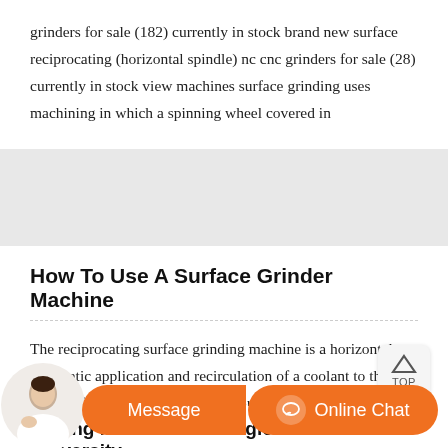grinders for sale (182) currently in stock brand new surface reciprocating (horizontal spindle) nc cnc grinders for sale (28) currently in stock view machines surface grinding uses machining in which a spinning wheel covered in
How To Use A Surface Grinder Machine
The reciprocating surface grinding machine is a horizontal-automatic application and recirculation of a coolant to the type surface grinding machine. Workpieces are fastened to table and can be moved beneath the grinding abrasive wheel by hand or power feed.
rinding Machines Carnegie Mellon University
Message
Online Chat